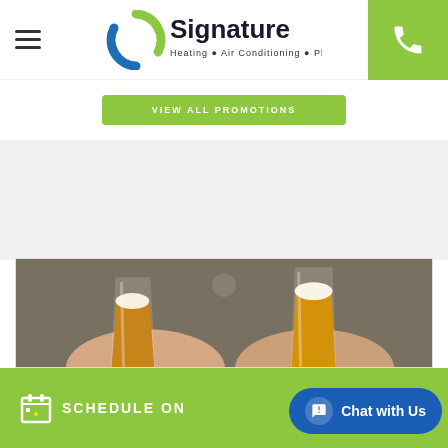[Figure (logo): Signature Heating Air Conditioning Plumbing logo with green and blue S icon]
[Figure (screenshot): Green button with text VIEW ALL PROMOTIONS]
[Figure (photo): Two hands clinking beer glasses together in a toast]
SCHEDULE ON
[Figure (screenshot): Blue chat button with Chat with Us text]